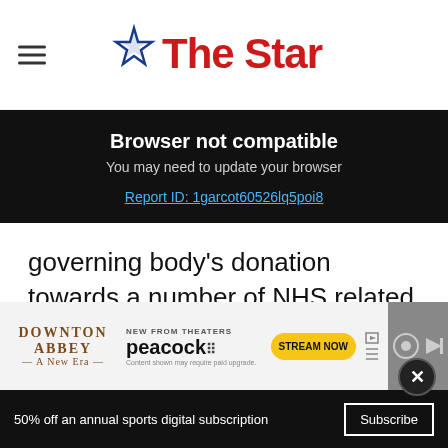The Star
Browser not compatible
You may need to update your browser
Report ID: 1garcot60526lq5poi8
governing body's donation towards a number of NHS related charities.
[Figure (screenshot): Downton Abbey - A New Era advertisement with Peacock streaming service, Stream Now button]
50% off an annual sports digital subscription
Subscribe